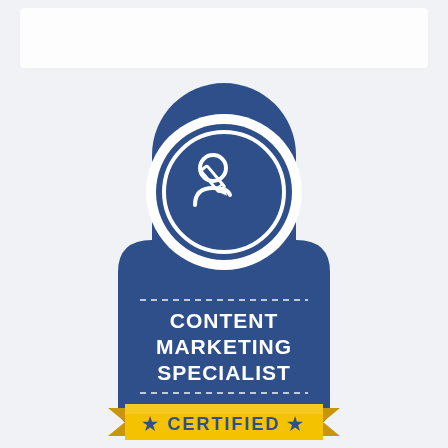[Figure (logo): Content Marketing Specialist Certified badge. A blue tombstone/shield shape with a circular icon at the top showing a person with a pencil (writing/content icon). Below a dashed line divider, the text 'CONTENT MARKETING SPECIALIST' appears in white bold letters. At the bottom is a gold/yellow banner ribbon with the text '★ CERTIFIED ★'.]